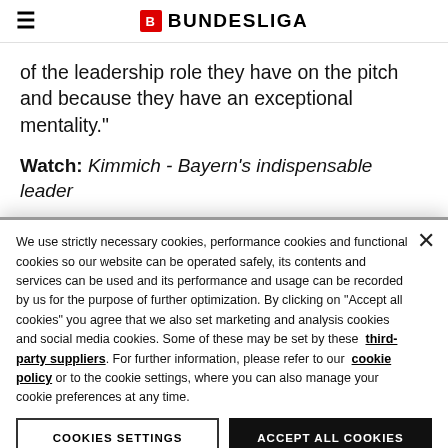BUNDESLIGA
of the leadership role they have on the pitch and because they have an exceptional mentality."
Watch: Kimmich - Bayern’s indispensable leader
We use strictly necessary cookies, performance cookies and functional cookies so our website can be operated safely, its contents and services can be used and its performance and usage can be recorded by us for the purpose of further optimization. By clicking on “Accept all cookies” you agree that we also set marketing and analysis cookies and social media cookies. Some of these may be set by these third-party suppliers. For further information, please refer to our cookie policy or to the cookie settings, where you can also manage your cookie preferences at any time.
COOKIES SETTINGS
ACCEPT ALL COOKIES